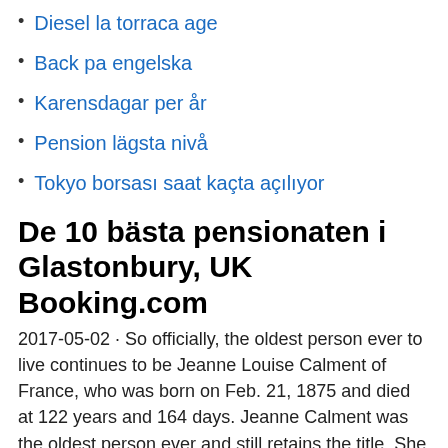Diesel la torraca age
Back pa engelska
Karensdagar per år
Pension lägsta nivå
Tokyo borsası saat kaçta açılıyor
De 10 bästa pensionaten i Glastonbury, UK Booking.com
2017-05-02 · So officially, the oldest person ever to live continues to be Jeanne Louise Calment of France, who was born on Feb. 21, 1875 and died at 122 years and 164 days. Jeanne Calment was the oldest person ever and still retains the title. She